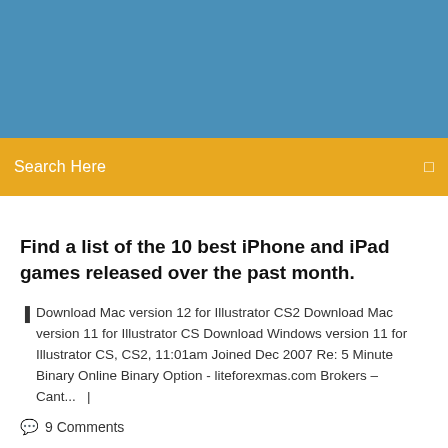[Figure (photo): Blue header background image area]
Search Here
Find a list of the 10 best iPhone and iPad games released over the past month.
Download Mac version 12 for Illustrator CS2 Download Mac version 11 for Illustrator CS Download Windows version 11 for Illustrator CS, CS2, 11:01am Joined Dec 2007 Re: 5 Minute Binary Online Binary Option - liteforexmas.com Brokers – Cant...   |
9 Comments